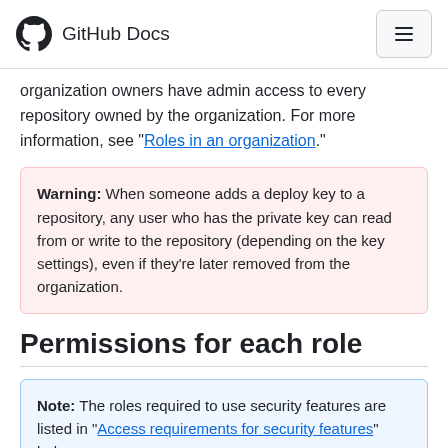GitHub Docs
organization owners have admin access to every repository owned by the organization. For more information, see "Roles in an organization."
Warning: When someone adds a deploy key to a repository, any user who has the private key can read from or write to the repository (depending on the key settings), even if they're later removed from the organization.
Permissions for each role
Note: The roles required to use security features are listed in "Access requirements for security features" below.